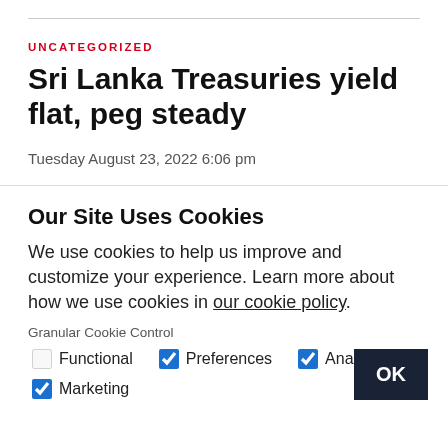UNCATEGORIZED
Sri Lanka Treasuries yield flat, peg steady
Tuesday August 23, 2022 6:06 pm
Our Site Uses Cookies
We use cookies to help us improve and customize your experience. Learn more about how we use cookies in our cookie policy.
Granular Cookie Control
Functional
Preferences
Analytics
Marketing